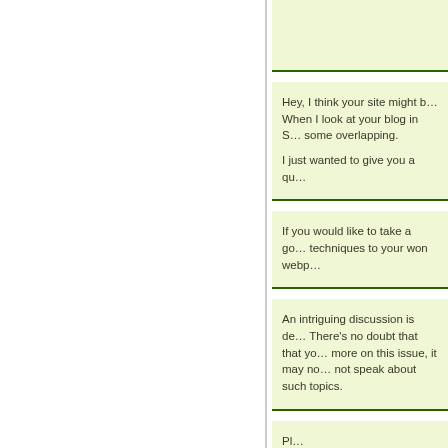Hey, I think your site might b... When I look at your blog in S... some overlapping.

I just wanted to give you a qu...
If you would like to take a go... techniques to your won webp...
An intriguing discussion is de... There's no doubt that that yo... more on this issue, it may no... not speak about such topics.
Pl...